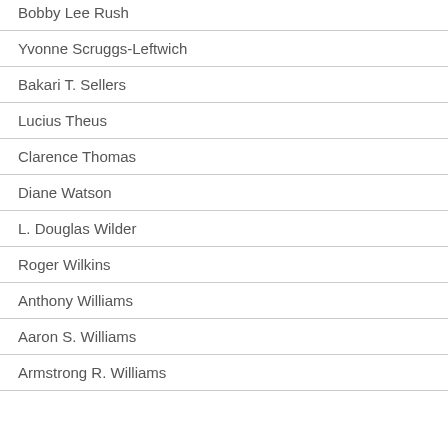Bobby Lee Rush
Yvonne Scruggs-Leftwich
Bakari T. Sellers
Lucius Theus
Clarence Thomas
Diane Watson
L. Douglas Wilder
Roger Wilkins
Anthony Williams
Aaron S. Williams
Armstrong R. Williams